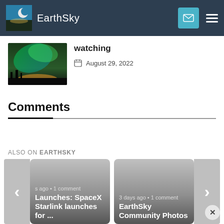EarthSky
Watching
August 29, 2022
Comments
ALSO ON EARTHSKY
[Figure (screenshot): Two article cards: 'Launches: SpaceX Starlink launches for ...' and 'EarthSky Community Photos', each showing metadata '3 days ago • 1 comment']
Launches: SpaceX Starlink launches for ...
EarthSky Community Photos